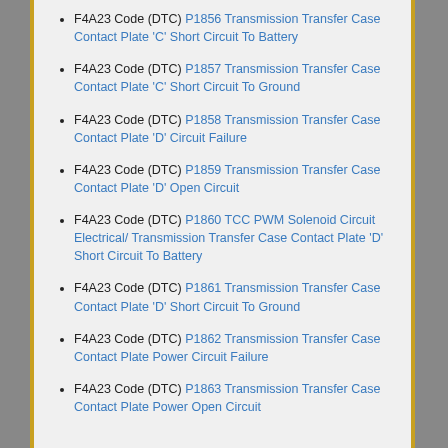F4A23 Code (DTC) P1856 Transmission Transfer Case Contact Plate 'C' Short Circuit To Battery
F4A23 Code (DTC) P1857 Transmission Transfer Case Contact Plate 'C' Short Circuit To Ground
F4A23 Code (DTC) P1858 Transmission Transfer Case Contact Plate 'D' Circuit Failure
F4A23 Code (DTC) P1859 Transmission Transfer Case Contact Plate 'D' Open Circuit
F4A23 Code (DTC) P1860 TCC PWM Solenoid Circuit Electrical/ Transmission Transfer Case Contact Plate 'D' Short Circuit To Battery
F4A23 Code (DTC) P1861 Transmission Transfer Case Contact Plate 'D' Short Circuit To Ground
F4A23 Code (DTC) P1862 Transmission Transfer Case Contact Plate Power Circuit Failure
F4A23 Code (DTC) P1863 Transmission Transfer Case Contact Plate Power Open Circuit